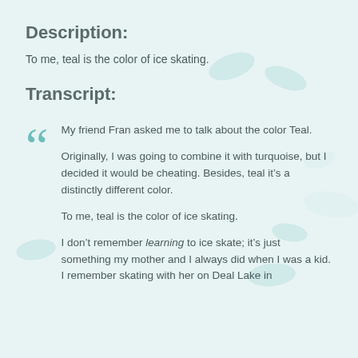Description:
To me, teal is the color of ice skating.
Transcript:
My friend Fran asked me to talk about the color Teal.

Originally, I was going to combine it with turquoise, but I decided it would be cheating. Besides, teal it’s a distinctly different color.

To me, teal is the color of ice skating.

I don’t remember learning to ice skate; it’s just something my mother and I always did when I was a kid. I remember skating with her on Deal Lake in